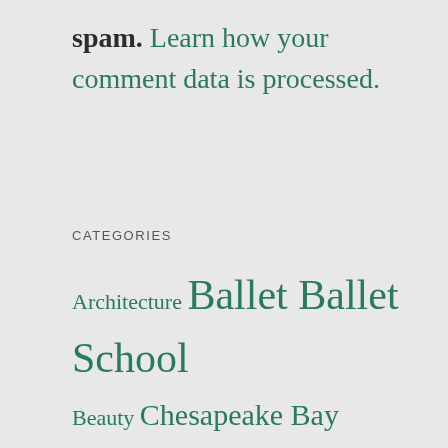spam. Learn how your comment data is processed.
CATEGORIES
Architecture
Ballet
Ballet School
Beauty
Chesapeake Bay Retrievers
David-the-Chef
Descriptive Writing
Dogs
Family
Fiction
Food